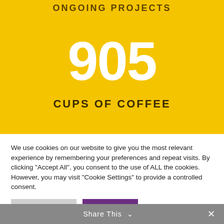ONGOING PROJECTS
905
CUPS OF COFFEE
We use cookies on our website to give you the most relevant experience by remembering your preferences and repeat visits. By clicking “Accept All”, you consent to the use of ALL the cookies. However, you may visit “Cookie Settings” to provide a controlled consent.
Share This ∨   ×